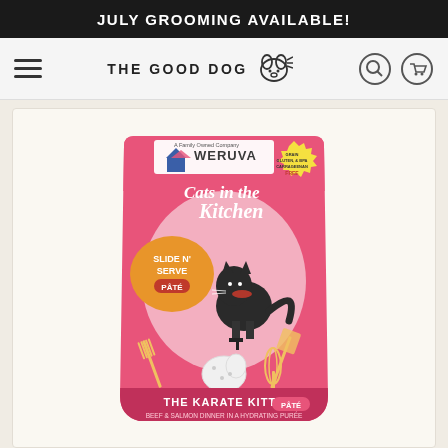JULY GROOMING AVAILABLE!
[Figure (logo): The Good Dog store logo with hamburger menu, search icon, and cart icon navigation bar]
[Figure (photo): Weruva Cats in the Kitchen The Karate Kitty Beef & Salmon Dinner in a Hydrating Purée Slide N Serve Pâté cat food pouch product image]